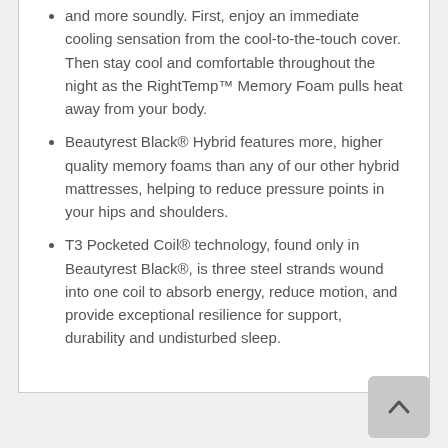and more soundly. First, enjoy an immediate cooling sensation from the cool-to-the-touch cover. Then stay cool and comfortable throughout the night as the RightTemp™ Memory Foam pulls heat away from your body.
Beautyrest Black® Hybrid features more, higher quality memory foams than any of our other hybrid mattresses, helping to reduce pressure points in your hips and shoulders.
T3 Pocketed Coil® technology, found only in Beautyrest Black®, is three steel strands wound into one coil to absorb energy, reduce motion, and provide exceptional resilience for support, durability and undisturbed sleep.